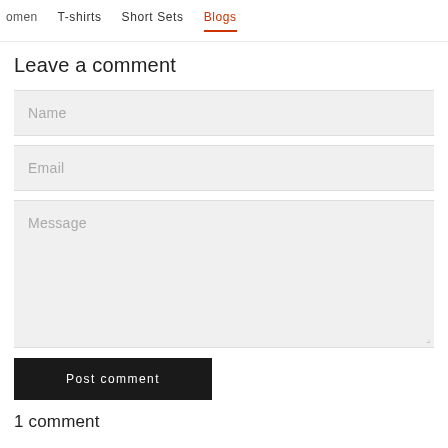omen   T-shirts   Short Sets   Blogs
Leave a comment
Name
Email
Message
Post comment
1 comment